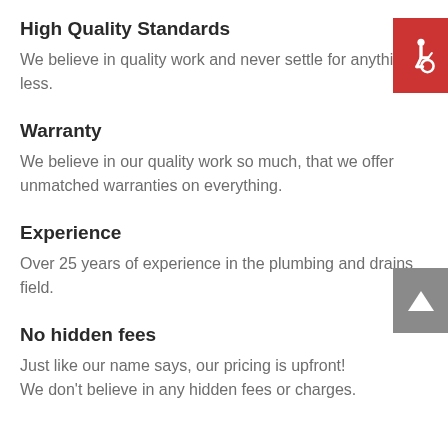High Quality Standards
We believe in quality work and never settle for anything less.
[Figure (illustration): Red accessibility/wheelchair symbol button in top-right corner]
Warranty
We believe in our quality work so much, that we offer unmatched warranties on everything.
Experience
[Figure (illustration): Gray scroll-to-top arrow button on right side]
Over 25 years of experience in the plumbing and drains field.
No hidden fees
Just like our name says, our pricing is upfront! We don't believe in any hidden fees or charges.